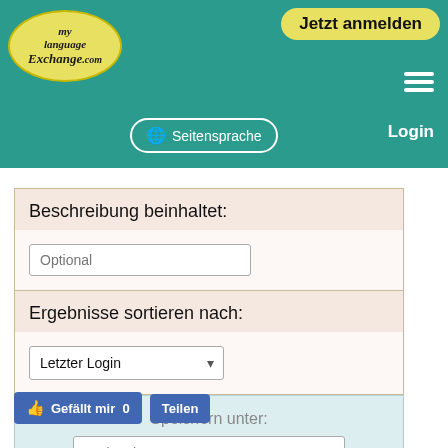[Figure (screenshot): MyLanguageExchange.com website header with teal/green background, logo oval in yellow, 'Jetzt anmelden' button, hamburger menu, globe/Seitensprache button, and Login link]
Beschreibung beinhaltet:
Optional
Ergebnisse sortieren nach:
Letzter Login
Speichern unter:
Optional
Suche
Gefällt mir  0
Teilen